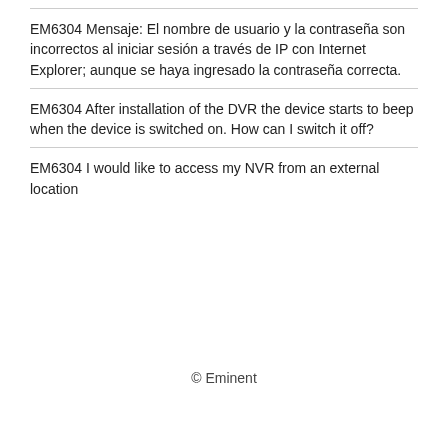EM6304 Mensaje: El nombre de usuario y la contraseña son incorrectos al iniciar sesión a través de IP con Internet Explorer; aunque se haya ingresado la contraseña correcta.
EM6304 After installation of the DVR the device starts to beep when the device is switched on. How can I switch it off?
EM6304 I would like to access my NVR from an external location
© Eminent